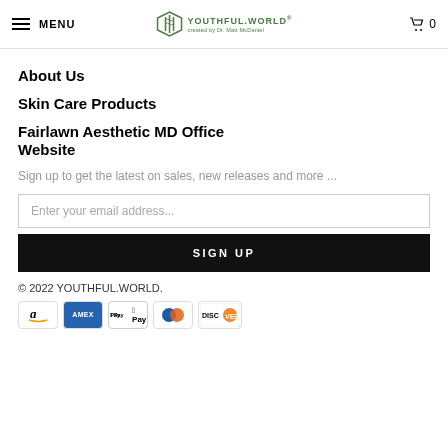MENU | YOUTHFUL.WORLD created by Dr. Matt McDaniel | Cart 0
About Us
Skin Care Products
Fairlawn Aesthetic MD Office Website
Sign up to get the latest on sales, new releases and more ...
Enter your email address...
SIGN UP
© 2022 YOUTHFUL.WORLD.